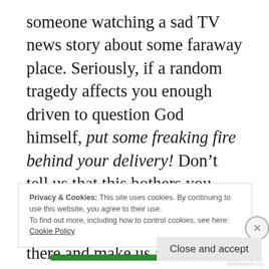someone watching a sad TV news story about some faraway place. Seriously, if a random tragedy affects you enough driven to question God himself, put some freaking fire behind your delivery! Don't tell us that this bothers you, show us! If you're sad or frustrated or angry, put it out there and make us all feel that way too! Instead, we get this flat, defeated delivery that at best projects a “que sera, sera” attitude,
Privacy & Cookies: This site uses cookies. By continuing to use this website, you agree to their use.
To find out more, including how to control cookies, see here: Cookie Policy